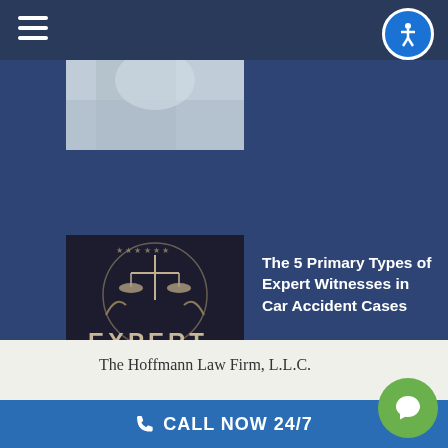Navigation bar with hamburger menu and accessibility button
[Figure (photo): Partially visible photo at top, showing a blurred figure in light clothing]
[Figure (photo): Expert witness seal/medallion image with scales of justice and text reading EXPERT WITNESS in metallic engraving]
The 5 Primary Types of Expert Witnesses in Car Accident Cases
The Hoffmann Law Firm, L.L.C.
CALL NOW 24/7